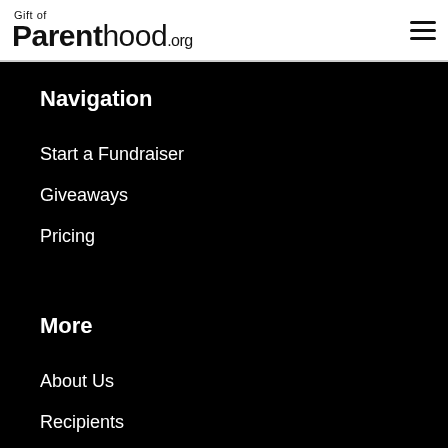Gift of Parenthood.org
Navigation
Start a Fundraiser
Giveaways
Pricing
More
About Us
Recipients